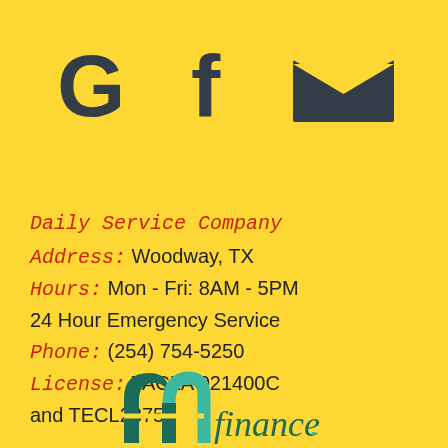[Figure (logo): Three social/contact icons: Google G logo, Facebook f logo, and envelope/email icon, all in dark charcoal color on yellow background]
Daily Service Company
Address: Woodway, TX
Hours: Mon - Fri: 8AM - 5PM
24 Hour Emergency Service
Phone: (254) 754-5250
License: TACLA 021400C
and TECL23753
[Figure (logo): f1 finance logo at bottom center — stylized dark green double-arch symbol with teal accent, followed by italic serif text 'finance.' in dark teal]